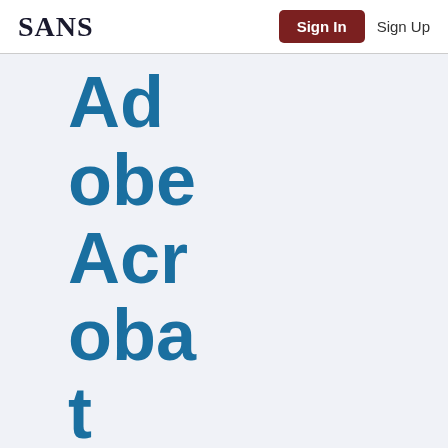SANS | Sign In | Sign Up
Adobe Acrobat pdf 0-day